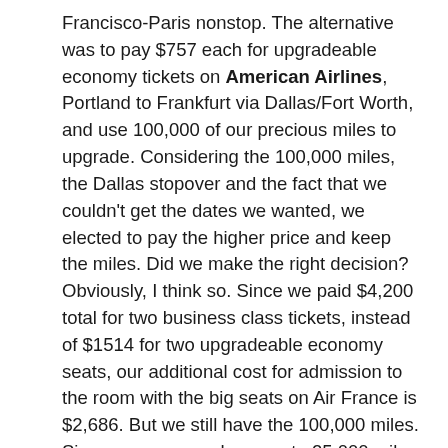Francisco-Paris nonstop. The alternative was to pay $757 each for upgradeable economy tickets on American Airlines, Portland to Frankfurt via Dallas/Fort Worth, and use 100,000 of our precious miles to upgrade. Considering the 100,000 miles, the Dallas stopover and the fact that we couldn't get the dates we wanted, we elected to pay the higher price and keep the miles. Did we make the right decision? Obviously, I think so. Since we paid $4,200 total for two business class tickets, instead of $1514 for two upgradeable economy seats, our additional cost for admission to the room with the big seats on Air France is $2,686. But we still have the 100,000 miles. Since one can purchase up to 25,000 miles from American for 2.5 cents each or $625, it might be argued that we could have purchased the two-person upgrade for $2,500 (2.5 cents x 100,000) except that you can't buy more than 25,000 miles per year. It is possible, however,